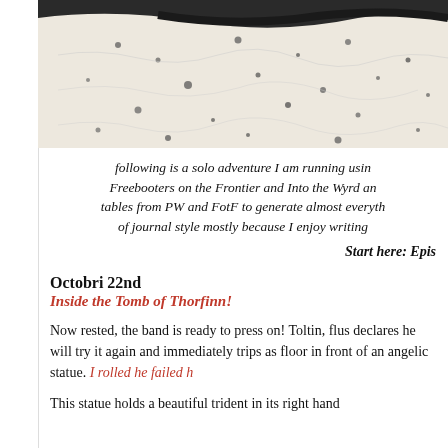[Figure (photo): Close-up photo of a spotted/dappled fur or textile with black dots on white/cream background, with a dark curved branch or stripe visible at top]
following is a solo adventure I am running using Freebooters on the Frontier and Into the Wyrd and tables from PW and FotF to generate almost everything of journal style mostly because I enjoy writing
Start here: Epis
Octobri 22nd
Inside the Tomb of Thorfinn!
Now rested, the band is ready to press on! Toltin, flus declares he will try it again and immediately trips as floor in front of an angelic statue. I rolled he failed h
This statue holds a beautiful trident in its right hand